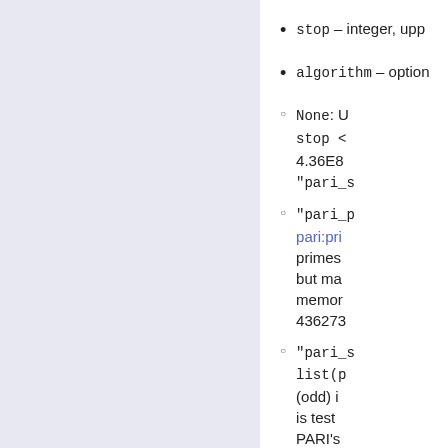stop – integer, upp...
algorithm – option...
None: U... stop < 4.36E8... "pari_s...
"pari_p... pari:pri... primes... but ma... memor... 436273...
"pari_s... list(p... (odd) i... is test... PARI's... slower...